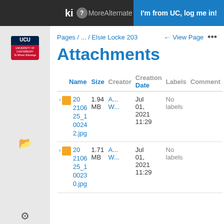ki ? More Alternate Login | I'm from UC, log me in!
[Figure (logo): UCU University of Canterbury logo]
Pages / ... / Elsie Locke 203
← View Page ...
Attachments
| Name | Size | Creator | Creation Date | Labels | Comment |
| --- | --- | --- | --- | --- | --- |
| 20210625_100242.jpg | 1.94 MB | A... W... | Jul 01, 2021 11:29 | No labels |  |
| 20210625_100230.jpg | 1.71 MB | A... W... | Jul 01, 2021 11:29 | No labels |  |